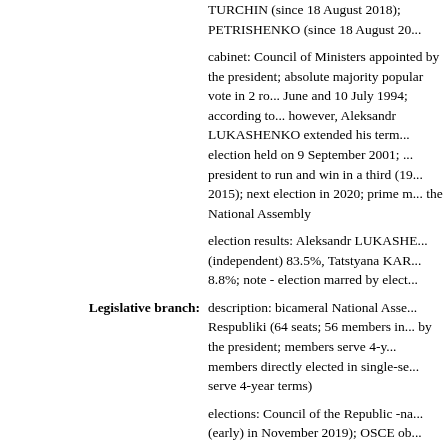TURCHIN (since 18 August 2018); PETRISHENKO (since 18 August 20...
cabinet: Council of Ministers appointed by the president; absolute majority popular vote in 2 rounds if needed; last held on 23 June and 10 July 1994; according to the 1994 constitution, however, Aleksandr LUKASHENKO extended his term via an election held on 9 September 2001; and again became the president to run and win in a third (19 December 2010) and fourth 2015); next election in 2020; prime minister appointed by the National Assembly
election results: Aleksandr LUKASHENKO reelected president (independent) 83.5%, Tatstyana KARATKEVICH 4.4%, other 8.8%; note - election marred by elect...
Legislative branch:
description: bicameral National Assembly or Natsyyonalny Respubliki (64 seats; 56 members indirectly elected by the president; members serve 4-year terms) and Palata Predstaviteley members directly elected in single-seat constituencies; members serve 4-year terms)
elections: Council of the Republic -na/a; Palata Predstaviteley - last held (early) in November 2019); OSCE observers determined that vote counting was problematic in a majority of cases per seat, with only the UCP member and one other winning a seat; observers determined that the previous election failed to meet democratic standards, with pro-LUKA...
election results: Council of the Republic - percent of women 17, percent of women 26.6%...; Palata Predstaviteley - seats by party 8, Belarusian Patriotic Party 3, Republican Party composition - men 72, women 38...